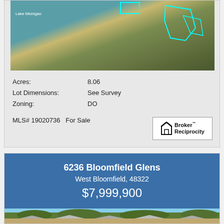[Figure (map): Aerial satellite view of lake Michigan shoreline property with cyan outlines marking the lot boundaries]
Acres: 8.06
Lot Dimensions: See Survey
Zoning: DO
MLS# 19020736   For Sale
[Figure (logo): Broker Reciprocity logo with house icon]
6236 Bloomfield Glens
West Bloomfield, 48322
$7,999,900
[Figure (photo): Aerial photo of large residential property surrounded by trees, rooftops visible in foreground]